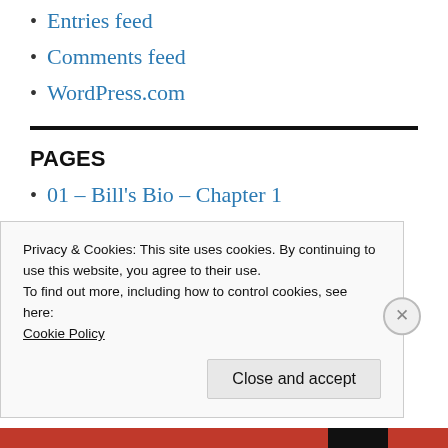Entries feed
Comments feed
WordPress.com
PAGES
01 – Bill's Bio – Chapter 1
02 – Bio – Chapter 2
Privacy & Cookies: This site uses cookies. By continuing to use this website, you agree to their use.
To find out more, including how to control cookies, see here:
Cookie Policy
Close and accept